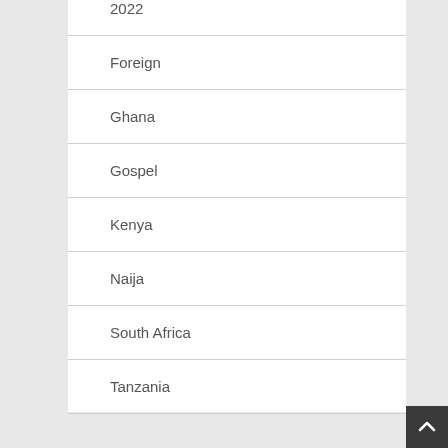2022
Foreign
Ghana
Gospel
Kenya
Naija
South Africa
Tanzania